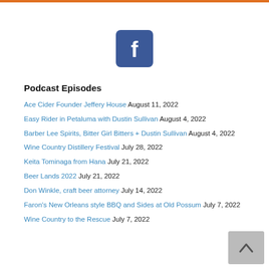[Figure (logo): Facebook logo button - blue rounded square with white 'f' icon]
Podcast Episodes
Ace Cider Founder Jeffery House August 11, 2022
Easy Rider in Petaluma with Dustin Sullivan August 4, 2022
Barber Lee Spirits, Bitter Girl Bitters + Dustin Sullivan August 4, 2022
Wine Country Distillery Festival July 28, 2022
Keita Tominaga from Hana July 21, 2022
Beer Lands 2022 July 21, 2022
Don Winkle, craft beer attorney July 14, 2022
Faron's New Orleans style BBQ and Sides at Old Possum July 7, 2022
Wine Country to the Rescue July 7, 2022